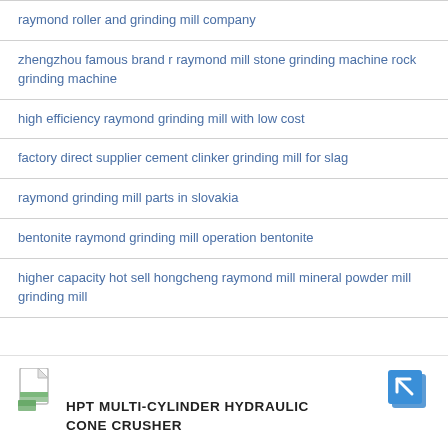raymond roller and grinding mill company
zhengzhou famous brand r raymond mill stone grinding machine rock grinding machine
high efficiency raymond grinding mill with low cost
factory direct supplier cement clinker grinding mill for slag
raymond grinding mill parts in slovakia
bentonite raymond grinding mill operation bentonite
higher capacity hot sell hongcheng raymond mill mineral powder mill grinding mill
[Figure (illustration): Product card for HPT Multi-Cylinder Hydraulic Cone Crusher with a file/document icon on the left and an arrow-in-box share icon on the right]
HPT MULTI-CYLINDER HYDRAULIC CONE CRUSHER